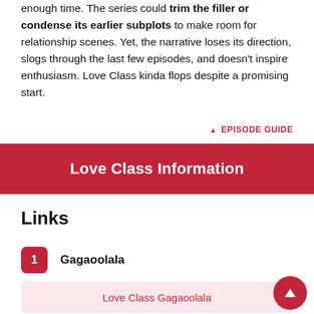enough time. The series could trim the filler or condense its earlier subplots to make room for relationship scenes. Yet, the narrative loses its direction, slogs through the last few episodes, and doesn't inspire enthusiasm. Love Class kinda flops despite a promising start.
▲ EPISODE GUIDE
Love Class Information
Links
1 Gagaoolala
Love Class Gagaoolala